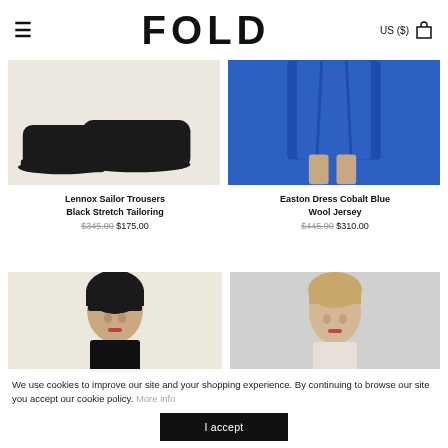≡  FOLD  US ($) 🛍
[Figure (photo): Close-up of black heeled shoes on a beige/cream background]
[Figure (photo): Woman wearing cobalt blue dress, showing lower half on blue background]
Lennox Sailor Trousers Black Stretch Tailoring $345.00 $175.00
Easton Dress Cobalt Blue Wool Jersey $445.00 $310.00
[Figure (photo): Woman with dark hair and bangs on cream background]
[Figure (photo): Blonde woman on light grey/white background]
We use cookies to improve our site and your shopping experience. By continuing to browse our site you accept our cookie policy. More info
I accept